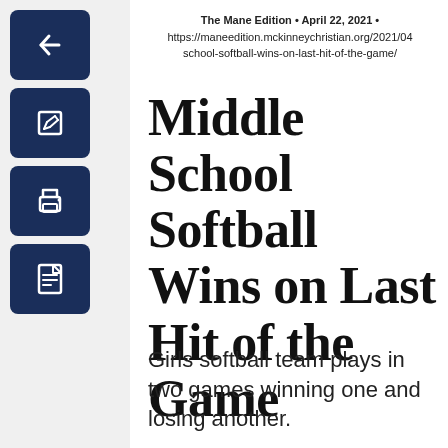The Mane Edition • April 22, 2021 • https://maneedition.mckinneychristian.org/2021/04/school-softball-wins-on-last-hit-of-the-game/
Middle School Softball Wins on Last Hit of the Game
Girls softball team plays in two games winning one and losing another.